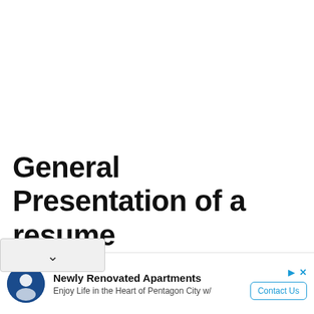General Presentation of a resume
[Figure (other): Advertisement banner for Newly Renovated Apartments. Shows a circular logo/icon on the left, text reading 'Newly Renovated Apartments' and 'Enjoy Life in the Heart of Pentagon City w/' in the middle, and a 'Contact Us' button on the right with play and close icons.]